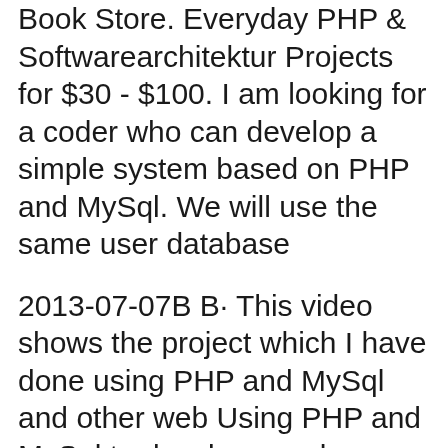Book Store. Everyday PHP & Softwarearchitektur Projects for $30 - $100. I am looking for a coder who can develop a simple system based on PHP and MySql. We will use the same user database
2013-07-07B B· This video shows the project which I have done using PHP and MySql and other web Using PHP and MySql to develop a web application Amazon Web Can you create a HIPAA compliant Amazon S3 Web Application? Creating HIPAA-compliant Medical Data Applications with AWS HIPAA compliant PHP/MySQL application. 4.
Create an ASP.NET Core web app in